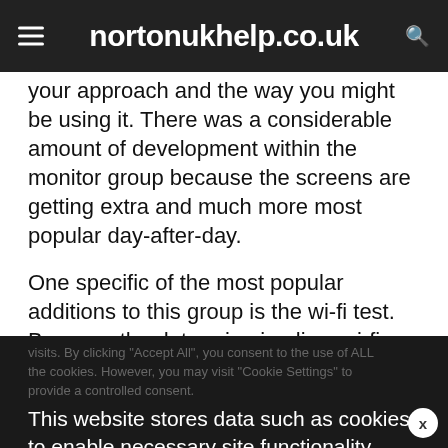nortonukhelp.co.uk
your approach and the way you might be using it. There was a considerable amount of development within the monitor group because the screens are getting extra and much more most popular day-after-day.
One specific of the most popular additions to this group is the wi-fi test. Because the determine implies. wi-fi shows work above Wi-Fi and don't
We use cookies on our website to give you the most relevant experience by remembering your preferences and repeat visits. By clicking "Accept All", you consent to the use of ALL the cookies. However, you may visit "Cookie Settings" to provide a controlled consent.
This website stores data such as cookies to enable necessary site functionality, including analytics, targeting, and personalization. By remaining on this website you indicate your consent Cookie Policy